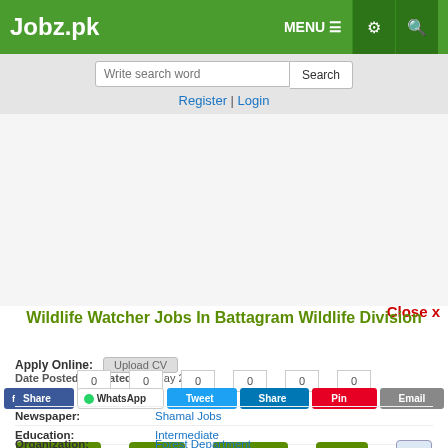Jobz.pk
Write search word | Search
Register | Login
[Figure (other): Advertisement banner area (blank)]
Close x
Wildlife Watcher Jobs In Battagram Wildlife Division
Apply Online:
Date Posted / Updated: 21 May 2022
Share buttons: Share, WhatsApp, Tweet, Share, Pin, Email
Newspaper: Shamal Jobs
Education: Intermediate
Vacancy Location: Battagram, Khyber Pakhtunkhwa KPK, Pakistan
Organization: Forest Department
Job Industry: Management Jobs
Buttons: Job Closed | Save | Comment | Print